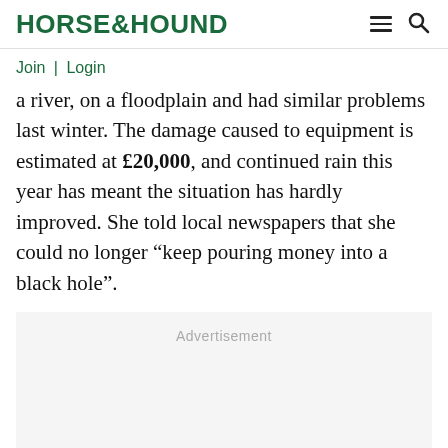HORSE&HOUND
Join | Login
a river, on a floodplain and had similar problems last winter. The damage caused to equipment is estimated at £20,000, and continued rain this year has meant the situation has hardly improved. She told local newspapers that she could no longer “keep pouring money into a black hole”.
Advertisement